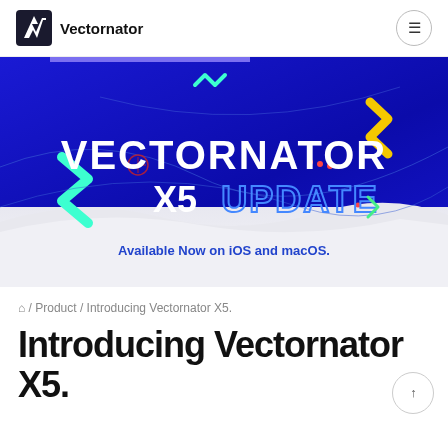Vectornator
[Figure (illustration): Hero banner with blue gradient background showing 'VECTORNATOR X5 UPDATE' text in white and teal outline, decorative zigzag shapes in teal and yellow, and 'Available Now on iOS and macOS.' subtext in blue.]
⌂ / Product / Introducing Vectornator X5.
Introducing Vectornator X5.